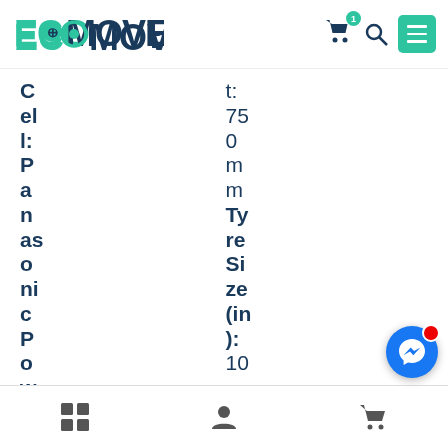[Figure (logo): ECOMOVE logo with teal/green ECO and dark navy MOVE text]
Cell: Panasonic Power: 1  |  t: 750mm  Tyre Size (in): 10
Grid | User | Cart icons bottom navigation bar